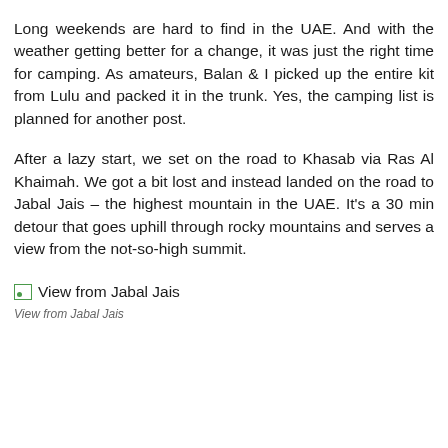Long weekends are hard to find in the UAE. And with the weather getting better for a change, it was just the right time for camping. As amateurs, Balan & I picked up the entire kit from Lulu and packed it in the trunk. Yes, the camping list is planned for another post.
After a lazy start, we set on the road to Khasab via Ras Al Khaimah. We got a bit lost and instead landed on the road to Jabal Jais – the highest mountain in the UAE. It's a 30 min detour that goes uphill through rocky mountains and serves a view from the not-so-high summit.
[Figure (photo): Broken/placeholder image icon followed by link text 'View from Jabal Jais']
View from Jabal Jais